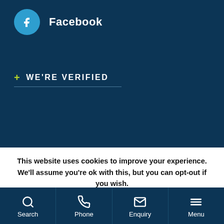[Figure (logo): Facebook circle icon with letter f on cyan-blue background, followed by 'Facebook' text in white bold]
+ WE'RE VERIFIED
This website uses cookies to improve your experience. We'll assume you're ok with this, but you can opt-out if you wish.
Accept | Read More
Search | Phone | Enquiry | Menu